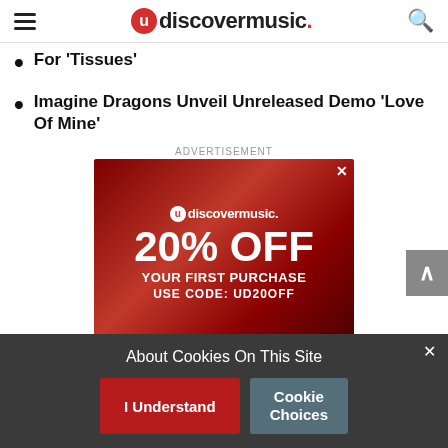udiscovermusic.
For ‘Tissues’
Imagine Dragons Unveil Unreleased Demo ‘Love Of Mine’
ADVERTISEMENT
[Figure (screenshot): udiscovermusic advertisement banner showing 20% OFF YOUR FIRST PURCHASE USE CODE: UD20OFF on dark red vinyl record background]
About Cookies On This Site
I Understand | Cookie Choices